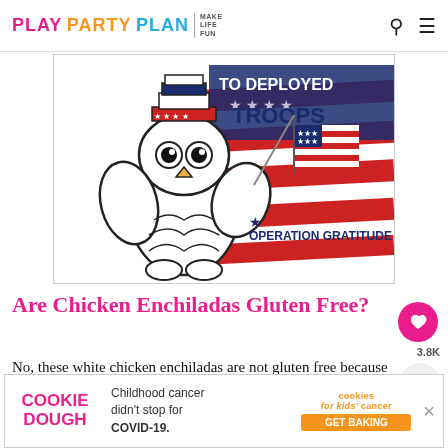PLAY PARTY PLAN | MAKE LIFE FUN
[Figure (illustration): Cartoon owl wearing a patriotic Uncle Sam hat and holding an American flag, with red white and blue stripes background and text reading 'TO DEPLOYED TROOPS' and 'OPERATION GRATITUDE']
Are Chicken Enchiladas Gluten Free?
No, these white chicken enchiladas are not gluten free because they use flour tortillas.
Fo... sweet to th...
[Figure (infographic): Advertisement banner: Cookie Dough - Childhood cancer didn't stop for COVID-19. Cookies for kids' cancer GET BAKING]